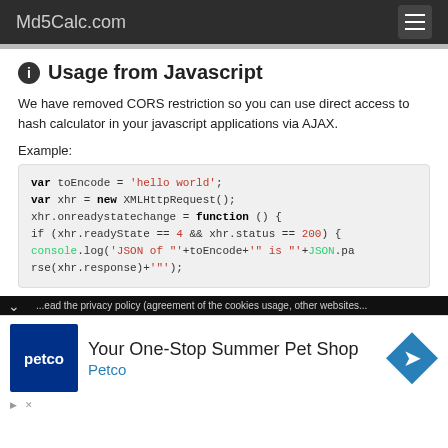Md5Calc.com
Usage from Javascript
We have removed CORS restriction so you can use direct access to hash calculator in your javascript applications via AJAX.
Example:
[Figure (screenshot): Code block showing JavaScript AJAX example: var toEncode = 'hello world'; var xhr = new XMLHttpRequest(); xhr.onreadystatechange = function () { if (xhr.readyState == 4 && xhr.status == 200) { console.log('JSON of "'+toEncode+'" is "'+JSON.parse(xhr.response)+'"'); }]
...ead the privacy policy (agreement of the cookies usage, other websites...
[Figure (other): Advertisement banner for Petco - Your One-Stop Summer Pet Shop]